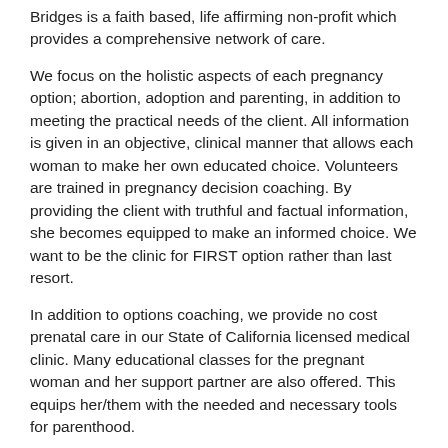Bridges is a faith based, life affirming non-profit which provides a comprehensive network of care.
We focus on the holistic aspects of each pregnancy option; abortion, adoption and parenting, in addition to meeting the practical needs of the client. All information is given in an objective, clinical manner that allows each woman to make her own educated choice. Volunteers are trained in pregnancy decision coaching. By providing the client with truthful and factual information, she becomes equipped to make an informed choice. We want to be the clinic for FIRST option rather than last resort.
In addition to options coaching, we provide no cost prenatal care in our State of California licensed medical clinic. Many educational classes for the pregnant woman and her support partner are also offered. This equips her/them with the needed and necessary tools for parenthood.
Post abortion support and recovery, along with sexual abuse support and recovery are also arms of Bridges. We offer fully confidential and caring support to women and men seeking healing and wholeness in these areas.